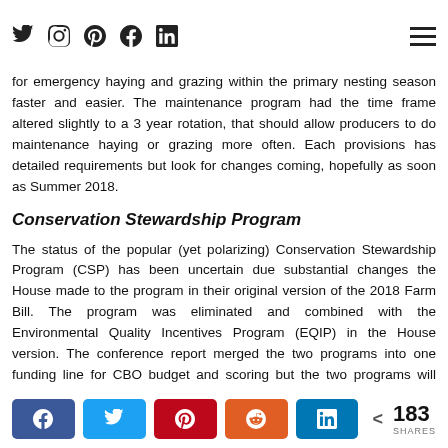[Social icons: Twitter, Instagram, Pinterest, Facebook, LinkedIn] [Hamburger menu]
This also program also has several special haying and grazing programs (both emergency and maintenance). The changes to the emergency grazing hopefully allow for areas to get approval for emergency haying and grazing within the primary nesting season faster and easier. The maintenance program had the time frame altered slightly to a 3 year rotation, that should allow producers to do maintenance haying or grazing more often. Each provisions has detailed requirements but look for changes coming, hopefully as soon as Summer 2018.
Conservation Stewardship Program
The status of the popular (yet polarizing) Conservation Stewardship Program (CSP) has been uncertain due substantial changes the House made to the program in their original version of the 2018 Farm Bill. The program was eliminated and combined with the Environmental Quality Incentives Program (EQIP) in the House version. The conference report merged the two programs into one funding line for CBO budget and scoring but the two programs will operate separately.
< 183 SHARES [Share buttons: Facebook, Twitter, Pinterest, Reddit, LinkedIn]